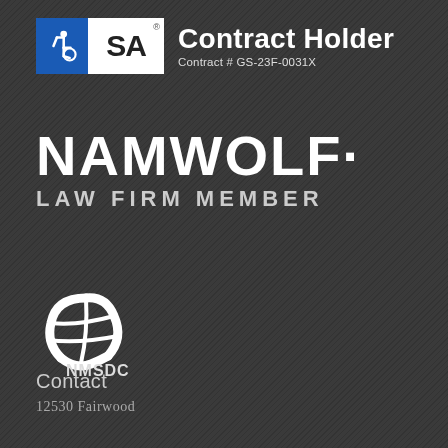[Figure (logo): GSA Contract Holder badge with accessibility icon (blue box with wheelchair symbol), white box with 'SA' letters, and text 'Contract Holder Contract # GS-23F-0031X']
[Figure (logo): NAMWOLF Law Firm Member logo — large white text 'NAMWOLF' with smaller 'LAW FIRM MEMBER' below in light grey]
[Figure (logo): NMSDC logo — white globe/network graphic with text 'NMSDC' below]
Contact
12530 Fairwood